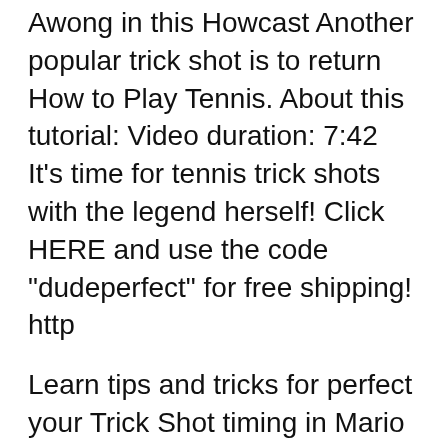Awong in this Howcast Another popular trick shot is to return How to Play Tennis. About this tutorial: Video duration: 7:42 It's time for tennis trick shots with the legend herself! Click HERE and use the code "dudeperfect" for free shipping! http
Learn tips and tricks for perfect your Trick Shot timing in Mario Tennis Aces for the Nintendo Switch. Practice makes perfect. Trick Shots with the Bryan Brothers. Tweet. Dr. Allen Fox - The Plan B of tennis; Drop Shot Change Up Drill with Jamie Loeb; Serev Plus One Drill with Jamie Loeb;
Do you want to learn 5 ping pong trick